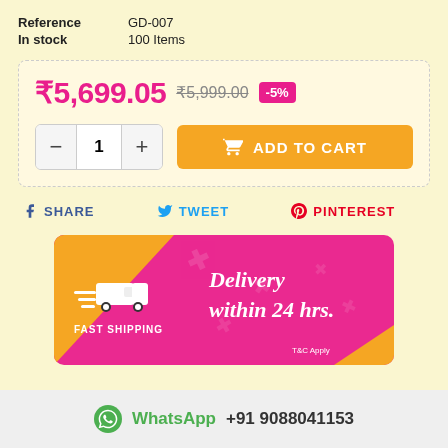| Reference | GD-007 |
| In stock | 100 Items |
₹5,699.05  ₹5,999.00  -5%
1  ADD TO CART
f SHARE   TWEET   P PINTEREST
[Figure (infographic): Delivery within 24 hrs. Fast Shipping banner with a truck icon on pink and orange background. T&C Apply.]
WhatsApp +91 9088041153